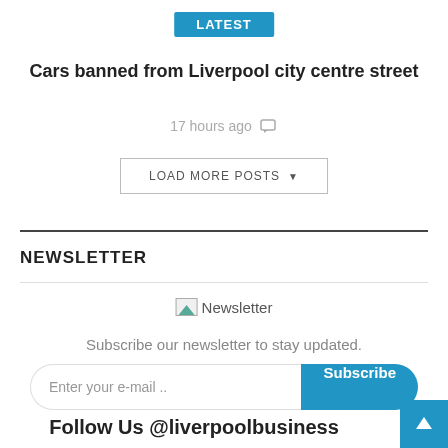LATEST
Cars banned from Liverpool city centre street
17 hours ago
LOAD MORE POSTS
NEWSLETTER
[Figure (illustration): Newsletter icon/image placeholder]
Subscribe our newsletter to stay updated.
Enter your e-mail ..  Subscribe
Follow Us @liverpoolbusiness